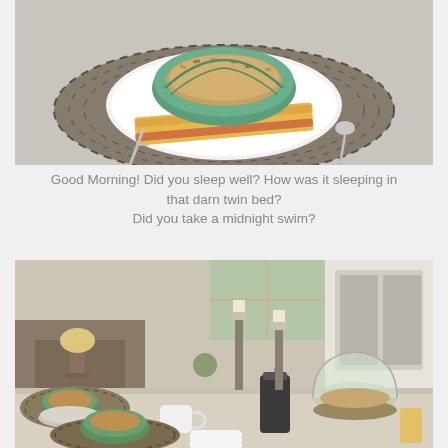[Figure (photo): A breakfast plate with a green leaf-shaped ceramic bowl filled with granola, sitting on a white plate with a folded floral napkin and silverware, placed on a wicker tray on a marble surface.]
Good Morning! Did you sleep well? How was it sleeping in that darn twin bed?
Did you take a midnight swim?
[Figure (photo): A dining table set for breakfast with green leaf-shaped bowls, white mugs, a French press coffee maker, a glass cake dome with food, candles in tall holders, and a lamp in the background.]